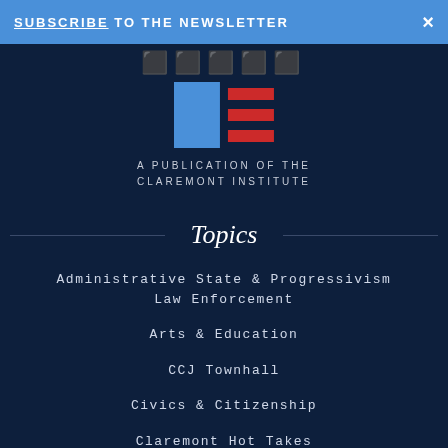SUBSCRIBE TO THE NEWSLETTER ×
[Figure (logo): Claremont review logo with partial text at top and American flag icon (blue square + red horizontal lines), followed by 'A PUBLICATION OF THE CLAREMONT INSTITUTE']
Topics
Administrative State & Progressivism
Law Enforcement
Arts & Education
CCJ Townhall
Civics & Citizenship
Claremont Hot Takes